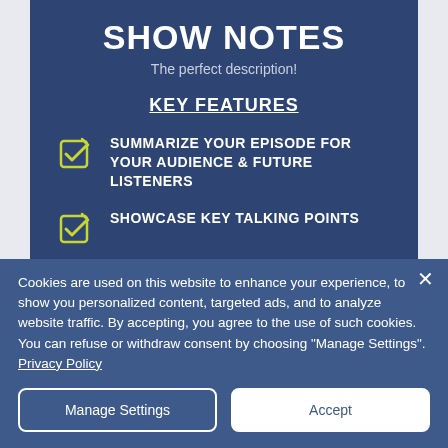SHOW NOTES
The perfect description!
KEY FEATURES
SUMMARIZE YOUR EPISODE FOR YOUR AUDIENCE & FUTURE LISTENERS
SHOWCASE KEY TALKING POINTS
LIST VALUABLE RESOURCES AND LINKS
Cookies are used on this website to enhance your experience, to show you personalized content, targeted ads, and to analyze website traffic. By accepting, you agree to the use of such cookies. You can refuse or withdraw consent by choosing "Manage Settings". Privacy Policy
Manage Settings
Accept